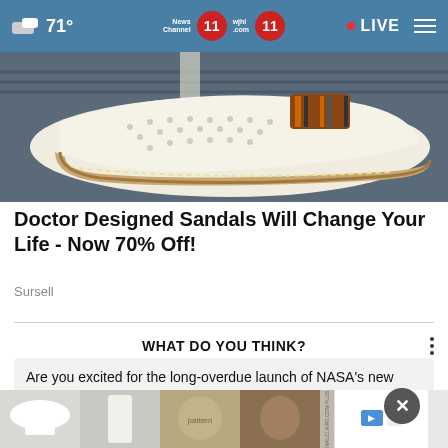71° News Channel 11 wjhl.com 11 • LIVE
[Figure (photo): Close-up photo of a white slip-on sandal/shoe with perforated upper, striped fabric accent, and decorative stitching on the sole, photographed on a dark surface]
Doctor Designed Sandals Will Change Your Life - Now 70% Off!
Sursell
WHAT DO YOU THINK?
Are you excited for the long-overdue launch of NASA's new moon rocket?
[Figure (photo): Bottom advertisement strip showing four clothing images (white batwing top, white trousers, patterned top, brown vest/jacket) and an ad sponsor box with play and close icons]